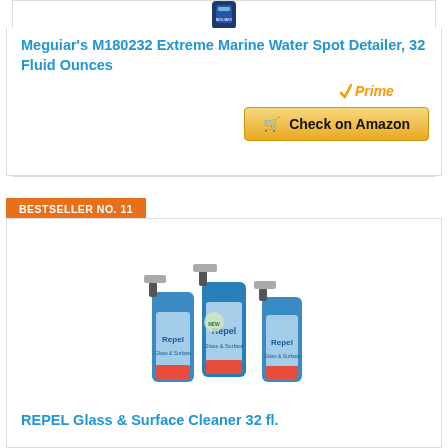[Figure (photo): Meguiar's M180232 product bottle (top portion visible)]
Meguiar’s M180232 Extreme Marine Water Spot Detailer, 32 Fluid Ounces
[Figure (logo): Amazon Prime badge with checkmark]
Check on Amazon
BESTSELLER NO. 11
[Figure (photo): Three REPEL Glass & Surface Cleaner spray bottles]
REPEL Glass & Surface Cleaner 32 fl.